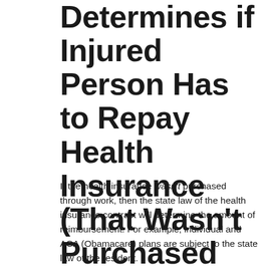Determines if Injured Person Has to Repay Health Insurance (That Wasn't Purchased Through Work)
If the health insurance wasn't purchased through work, then the state law of the health insurance contract will determine the amount of reimbursement. For example, individual and ACA (Obamacare) plans are subject to the state law of the resident.